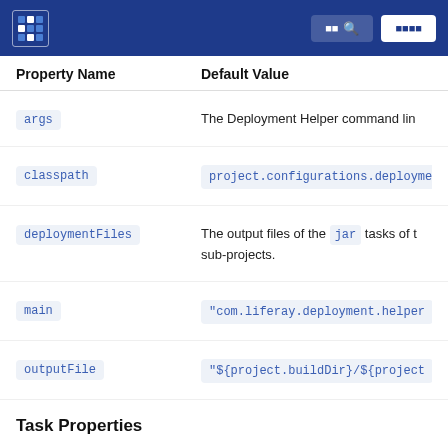| Property Name | Default Value |
| --- | --- |
| args | The Deployment Helper command lin… |
| classpath | project.configurations.deployme… |
| deploymentFiles | The output files of the jar tasks of t… sub-projects. |
| main | "com.liferay.deployment.helper… |
| outputFile | "${project.buildDir}/${project… |
Task Properties